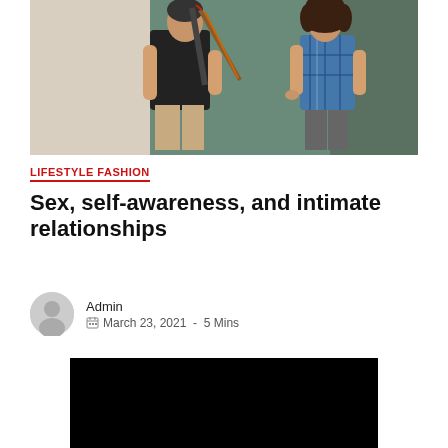[Figure (photo): Two people in what appears to be an archery or sporting goods setting. A man wearing a black polo shirt with arrows/quiver on his back, and a woman in a blue plaid shirt facing him.]
LIFESTYLE FASHION
Sex, self-awareness, and intimate relationships
Admin
March 23, 2021  -  5 Mins
[Figure (photo): Black rectangular image area, appears to be a dark/black photo or video thumbnail.]